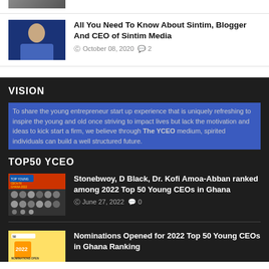[Figure (photo): Partial image cut off at top of page]
All You Need To Know About Sintim, Blogger And CEO of Sintim Media
October 08, 2020  2
VISION
To share the young entrepreneur start up experience that is uniquely refreshing to inspire the young and old once striving to impact lives but lack the motivation and ideas to kick start a firm, we believe through The YCEO medium, spirited individuals can build a well structured future.
TOP50 YCEO
[Figure (photo): Group photo of Top 50 Young CEOs Ghana 2022]
Stonebwoy, D Black, Dr. Kofi Amoa-Abban ranked among 2022 Top 50 Young CEOs in Ghana
June 27, 2022  0
[Figure (photo): Nominations Open graphic with yellow background]
Nominations Opened for 2022 Top 50 Young CEOs in Ghana Ranking